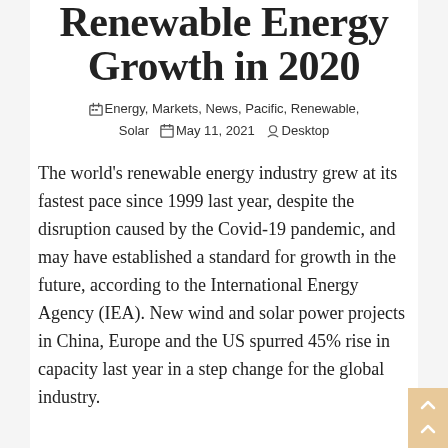Renewable Energy Growth in 2020
Energy, Markets, News, Pacific, Renewable, Solar   May 11, 2021   Desktop
The world's renewable energy industry grew at its fastest pace since 1999 last year, despite the disruption caused by the Covid-19 pandemic, and may have established a standard for growth in the future, according to the International Energy Agency (IEA). New wind and solar power projects in China, Europe and the US spurred 45% rise in capacity last year in a step change for the global industry.